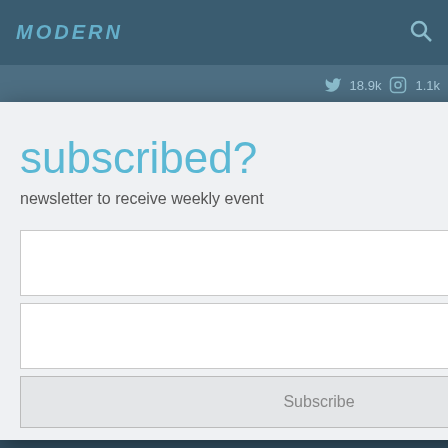[Figure (screenshot): Website background showing a dark blue-teal website header with 'MODERN' logo in italic teal text, search icon, social media counts (18.9k Twitter, 1.1k Instagram), and HUAWEI WATCH GT Runner product content]
subscribed?
newsletter to receive weekly event
[Figure (other): Modal dialog with subscription form containing two empty text input fields and a Subscribe button]